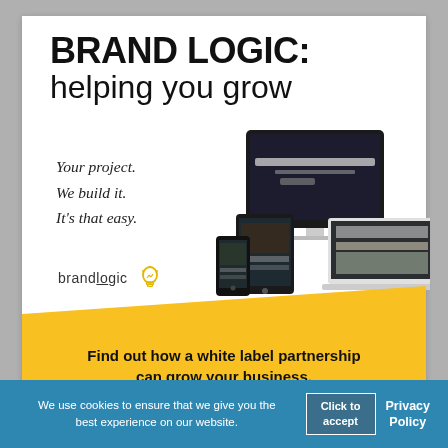BRAND LOGIC: helping you grow
Your project.
We build it.
It's that easy.
[Figure (illustration): brandlogic logo with lightbulb icon and mockup devices (monitor, tablet, phone, laptop) showing web designs]
Find out how a white label partnership can grow your business.
We use cookies to ensure that we give you the best experience on our website.
Click to accept
Privacy Policy